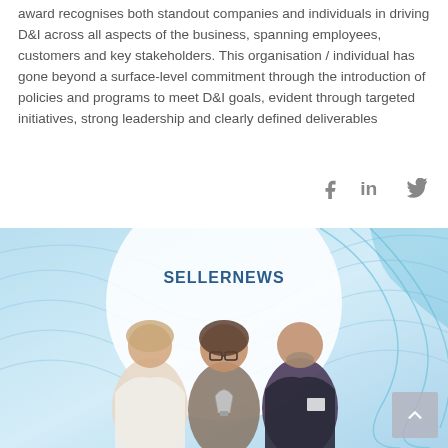award recognises both standout companies and individuals in driving D&I across all aspects of the business, spanning employees, customers and key stakeholders. This organisation / individual has gone beyond a surface-level commitment through the introduction of policies and programs to meet D&I goals, evident through targeted initiatives, strong leadership and clearly defined deliverables
[Figure (other): Social media icons: Facebook (f), LinkedIn (in), Twitter bird icon]
[Figure (photo): Three people standing together at an award ceremony in front of a SellerNews branded backdrop with teal/blue decorative wave pattern background. One woman in white blazer on left, a woman in patterned top holding a trophy in the centre, and a bald man in dark blazer on the right.]